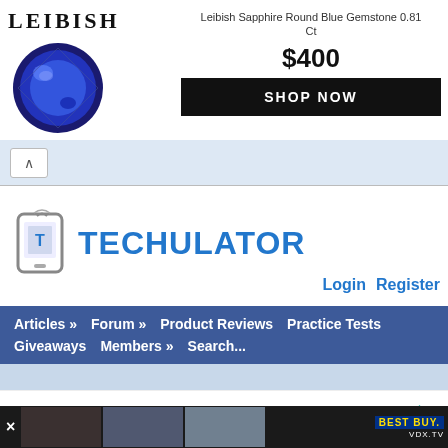[Figure (screenshot): Advertisement banner for Leibish gemstones showing blue sapphire, price $400, and SHOP NOW button]
[Figure (logo): Techulator website logo with mobile phone icon and blue TECHULATOR text]
Login   Register
Articles »   Forum »   Product Reviews   Practice Tests   Giveaways   Members »   Search...
Search for
[Figure (screenshot): Bottom advertisement banner for Best Buy / VDX.TV]